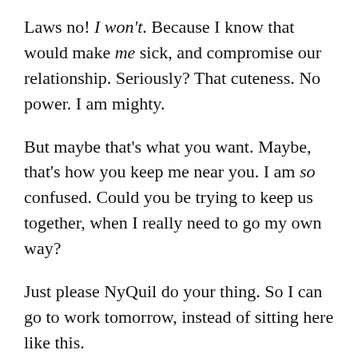Laws no! I won't. Because I know that would make me sick, and compromise our relationship. Seriously? That cuteness. No power. I am mighty.
But maybe that's what you want. Maybe, that's how you keep me near you. I am so confused. Could you be trying to keep us together, when I really need to go my own way?
Just please NyQuil do your thing. So I can go to work tomorrow, instead of sitting here like this.
[Figure (photo): A photo showing a cluttered table with tissues/medicine and household items in a dimly lit room with a window visible in the background.]